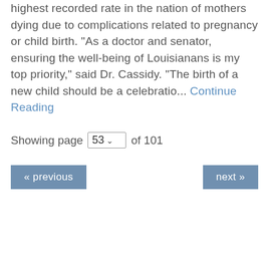highest recorded rate in the nation of mothers dying due to complications related to pregnancy or child birth. "As a doctor and senator, ensuring the well-being of Louisianans is my top priority," said Dr. Cassidy. "The birth of a new child should be a celebratio... Continue Reading
Showing page 53 of 101
« previous
next »